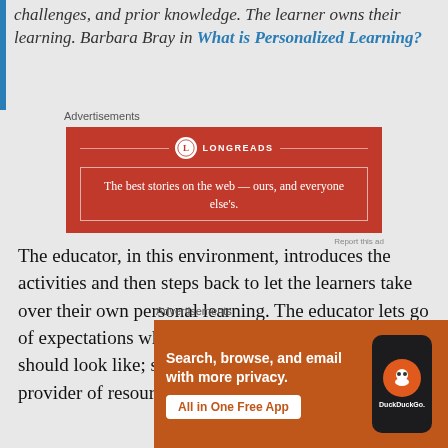challenges, and prior knowledge. The learner owns their learning. Barbara Bray in What is Personalized Learning?
[Figure (other): Longreads advertisement banner — red background with circular logo and tagline: The best stories on the web — ours, and everyone else's.]
The educator, in this environment, introduces the activities and then steps back to let the learners take over their own personal learning. The educator lets go of expectations what the final produce should be; should look like; should do.  The educator becomes a provider of resources,
[Figure (other): DuckDuckGo advertisement — orange background with text: Search, browse, and email with more privacy. All in One Free App. Shows phone with DuckDuckGo logo.]